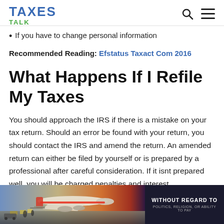TAXES TALK
If you have to change personal information
Recommended Reading: Efstatus Taxact Com 2016
What Happens If I Refile My Taxes
You should approach the IRS if there is a mistake on your tax return. Should an error be found with your return, you should contact the IRS and amend the return. An amended return can either be filed by yourself or is prepared by a professional after careful consideration. If it isnt prepared well, you will be charged penalties and interest.
[Figure (photo): Advertisement banner showing an airplane being loaded with cargo, with text 'WITHOUT REGARD TO' overlay on dark background]